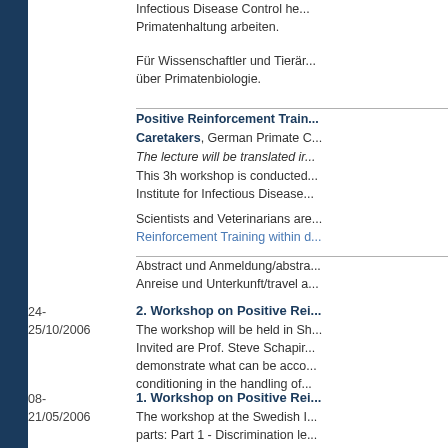Infectious Disease Control he... Primatenhaltung arbeiten.
Für Wissenschaftler und Tierär... über Primatenbiologie.
Positive Reinforcement Train... Caretakers, German Primate C... The lecture will be translated ir...
This 3h workshop is conducted... Institute for Infectious Disease...
Scientists and Veterinarians are... Reinforcement Training within d...
Abstract und Anmeldung/abstra... Anreise und Unterkunft/travel a...
24-25/10/2006
2. Workshop on Positive Rei...
The workshop will be held in Sh... Invited are Prof. Steve Schapir... demonstrate what can be acco... conditioning in the handling of...
08-21/05/2006
1. Workshop on Positive Rei...
The workshop at the Swedish I... parts: Part 1 - Discrimination le... analysis; mechanical skills (tim... Criteria-Cueing level workshop... tasky evaluate behaviour t...